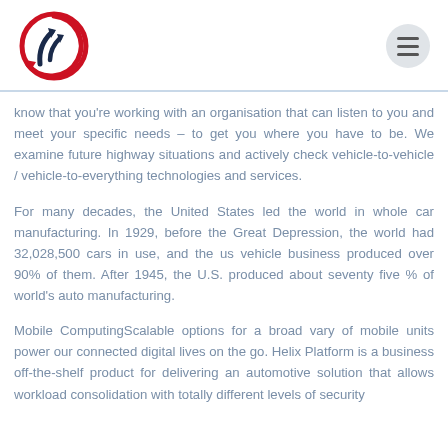[Figure (logo): Circular logo with red outer ring and dark blue arrows pointing upward/right inside, suggesting growth or direction]
know that you're working with an organisation that can listen to you and meet your specific needs – to get you where you have to be. We examine future highway situations and actively check vehicle-to-vehicle / vehicle-to-everything technologies and services.
For many decades, the United States led the world in whole car manufacturing. In 1929, before the Great Depression, the world had 32,028,500 cars in use, and the us vehicle business produced over 90% of them. After 1945, the U.S. produced about seventy five % of world's auto manufacturing.
Mobile ComputingScalable options for a broad vary of mobile units power our connected digital lives on the go. Helix Platform is a business off-the-shelf product for delivering an automotive solution that allows workload consolidation with totally different levels of security